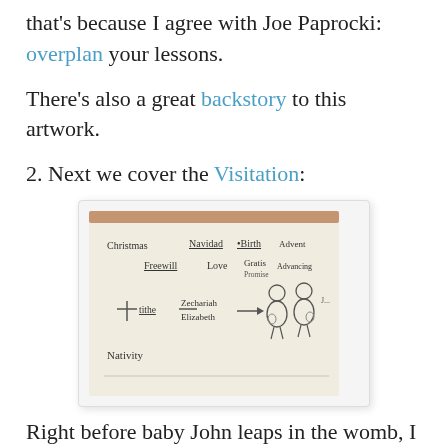that's because I agree with Joe Paprocki: overplan your lessons.
There's also a great backstory to this artwork.
2. Next we cover the Visitation:
[Figure (photo): Whiteboard with handwritten words: Christmas, Navidad, Birth, Advent, Freewill, Love, Gratis/Grace, Advancing, tithe, Zechariah, Elizabeth, Nativity, with an arrow pointing to a sketch of two pregnant figures.]
Right before baby John leaps in the womb, I hold my two rubber fetuses on Mary & Elizabeth's tummies. At the right moment, fetus John goes nuts.
3. Next is the Nativity through the Holy Innocents. I read